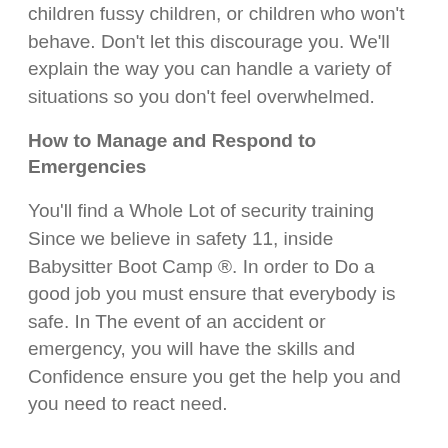children fussy children, or children who won't behave. Don't let this discourage you. We'll explain the way you can handle a variety of situations so you don't feel overwhelmed.
How to Manage and Respond to Emergencies
You'll find a Whole Lot of security training Since we believe in safety 11, inside Babysitter Boot Camp ®. In order to Do a good job you must ensure that everybody is safe. In The event of an accident or emergency, you will have the skills and Confidence ensure you get the help you and you need to react need.